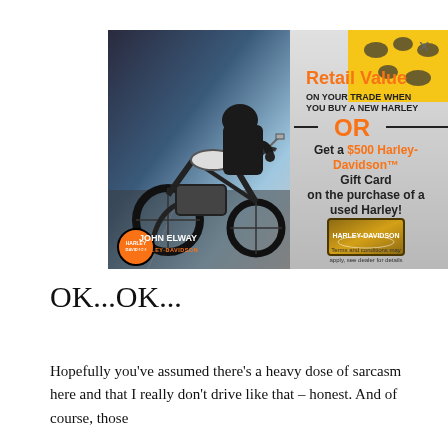[Figure (advertisement): Harley-Davidson motorcycle advertisement showing a rider on a motorcycle. Right side shows promotional offers: 'Retail Value ON YOUR TRADE WHEN YOU BUY A NEW HARLEY' and 'OR Get a $500 Harley-Davidson Gift Card on the purchase of a used Harley!' with John Elway Harley-Davidson dealer branding and 'Terms and conditions may apply, see dealer for details']
OK...OK...
Hopefully you've assumed there's a heavy dose of sarcasm here and that I really don't drive like that – honest. And of course, those